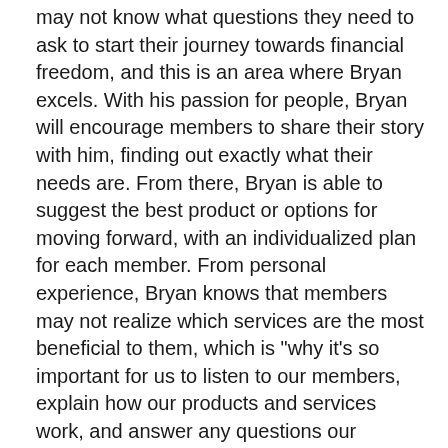may not know what questions they need to ask to start their journey towards financial freedom, and this is an area where Bryan excels. With his passion for people, Bryan will encourage members to share their story with him, finding out exactly what their needs are. From there, Bryan is able to suggest the best product or options for moving forward, with an individualized plan for each member. From personal experience, Bryan knows that members may not realize which services are the most beneficial to them, which is "why it's so important for us to listen to our members, explain how our products and services work, and answer any questions our members might have. We need to be ready to provide the kind of service that stands out above everyone else."